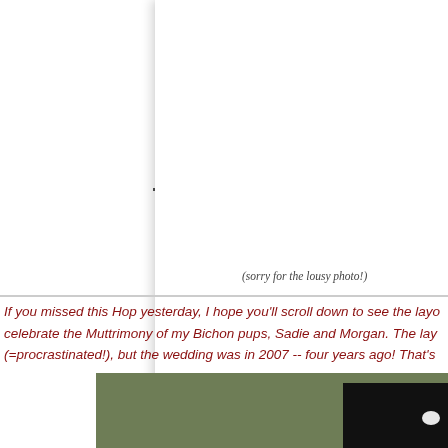[Figure (photo): White document or photo page with a vertical page-fold shadow line dividing the left and right halves. The right portion has a subtle drop shadow on the left edge. A small dot/mark is visible near the fold at mid-page.]
(sorry for the lousy photo!)
If you missed this Hop yesterday, I hope you'll scroll down to see the layo celebrate the Muttrimony of my Bichon pups, Sadie and Morgan. The lay (=procrastinated!), but the wedding was in 2007 -- four years ago! That's
[Figure (photo): Partial photo showing an olive/sage green background with a dark black object (appears to be a small animal wearing a black outfit or hat) visible at the right edge. White floral detail visible at bottom right of the dark object.]